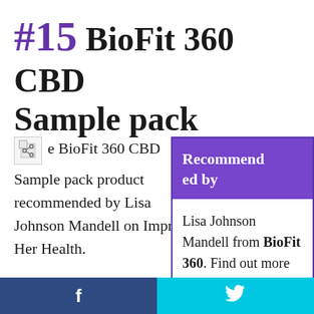#15 BioFit 360 CBD Sample pack
The BioFit 360 CBD Sample pack product recommended by Lisa Johnson Mandell on Improve Her Health.
Lisa Johnson Mandell from BioFit 360. Find out more about BioFit 360 CBD Sample pack by
f   🐦